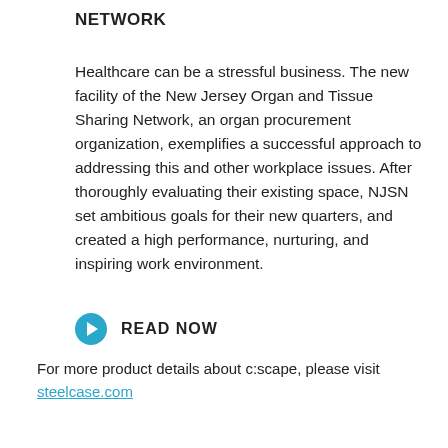NETWORK
Healthcare can be a stressful business. The new facility of the New Jersey Organ and Tissue Sharing Network, an organ procurement organization, exemplifies a successful approach to addressing this and other workplace issues. After thoroughly evaluating their existing space, NJSN set ambitious goals for their new quarters, and created a high performance, nurturing, and inspiring work environment.
READ NOW
For more product details about c:scape, please visit steelcase.com